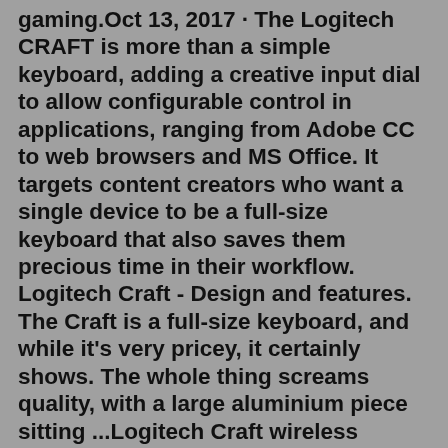gaming.Oct 13, 2017 · The Logitech CRAFT is more than a simple keyboard, adding a creative input dial to allow configurable control in applications, ranging from Adobe CC to web browsers and MS Office. It targets content creators who want a single device to be a full-size keyboard that also saves them precious time in their workflow. Logitech Craft - Design and features. The Craft is a full-size keyboard, and while it's very pricey, it certainly shows. The whole thing screams quality, with a large aluminium piece sitting ...Logitech Craft wireless keyboard, Computers, Hardware, Creative. greece, apple, keyboard, logitech, mx, computer equipment, computer keyboard. 3264x2448px.The Logitech Craft keyboard doesn't come with the functionality to scroll in the Crown. BUT you can use custom keystrokes to scroll using the Logitech craft keyboard.With the sleek-looking Logitech Craft Advanced Keyboard, you can easily work with complex programs. Use the touch-sensitive dial for more control or your favorite